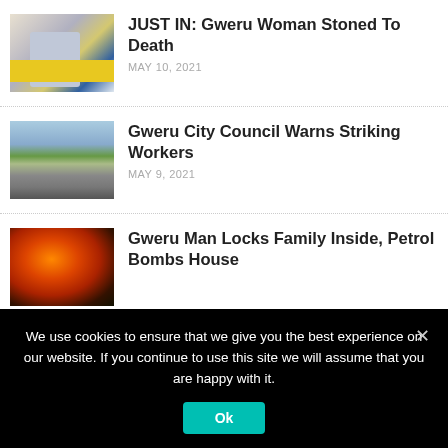[Figure (photo): Crime scene tape with blue gloved hand, yellow tape reading SCENE]
JUST IN: Gweru Woman Stoned To Death
MAY 10, 2021
[Figure (photo): Gweru City Council building with green roof and columns]
Gweru City Council Warns Striking Workers
MAY 9, 2021
[Figure (photo): Fire flames close-up, orange and yellow]
Gweru Man Locks Family Inside, Petrol Bombs House
We use cookies to ensure that we give you the best experience on our website. If you continue to use this site we will assume that you are happy with it.